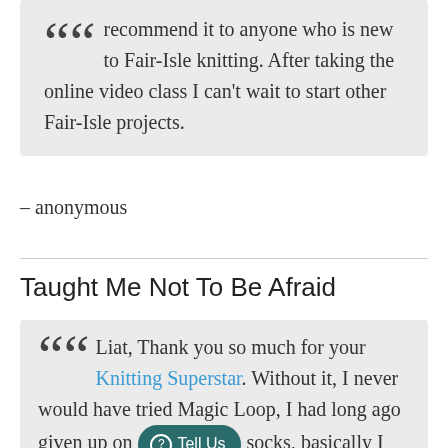recommend it to anyone who is new to Fair-Isle knitting. After taking the online video class I can't wait to start other Fair-Isle projects.
– anonymous
Taught Me Not To Be Afraid
Liat, Thank you so much for your Knitting Superstar. Without it, I never would have tried Magic Loop, I had long ago given up on socks, basically I was afraid. You